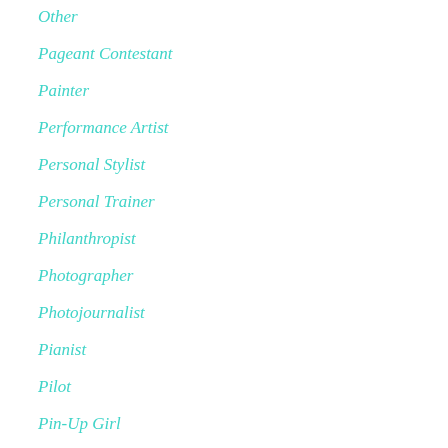Other
Pageant Contestant
Painter
Performance Artist
Personal Stylist
Personal Trainer
Philanthropist
Photographer
Photojournalist
Pianist
Pilot
Pin-Up Girl
Playback Singer
Playwright
Plus-Size Model